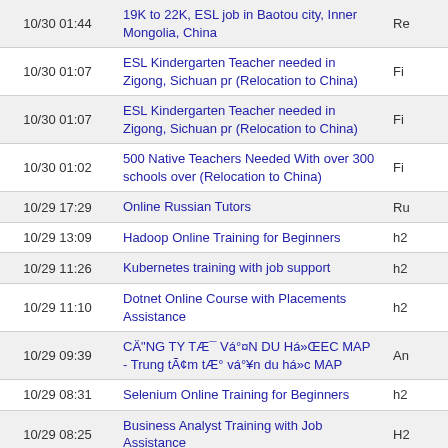| Date | Title |  |
| --- | --- | --- |
| 10/30 01:44 | 19K to 22K, ESL job in Baotou city, Inner Mongolia, China | Re |
| 10/30 01:07 | ESL Kindergarten Teacher needed in Zigong, Sichuan pr (Relocation to China) | Fi |
| 10/30 01:07 | ESL Kindergarten Teacher needed in Zigong, Sichuan pr (Relocation to China) | Fi |
| 10/30 01:02 | 500 Native Teachers Needed With over 300 schools over (Relocation to China) | Fi |
| 10/29 17:29 | Online Russian Tutors | Ru |
| 10/29 13:09 | Hadoop Online Training for Beginners | h2 |
| 10/29 11:26 | Kubernetes training with job support | h2 |
| 10/29 11:10 | Dotnet Online Course with Placements Assistance | h2 |
| 10/29 09:39 | CÄ”NG TY TÆ¯ VÃ¤n DU HÃ»ŒEC MAP - Trung tÃ¢m tÆ° vÃ¤¥n du hÃ»c MAP | An |
| 10/29 08:31 | Selenium Online Training for Beginners | h2 |
| 10/29 08:25 | Business Analyst Training with Job Assistance | H2 |
| 10/29 08:24 | Quality Assurance Training with Job Assistance | H2 |
| 10/29 07:52 | Python Online Course with Placements Assistance | h2 |
| 10/29 07:23 | Montessori Kindergarten Position available in Zhujian (Relocation to China) | Fi |
| 10/29 07:23 | Top Kindergarten in Qingxiu District, Nanning, Guangx (Relocation to China) | Fi |